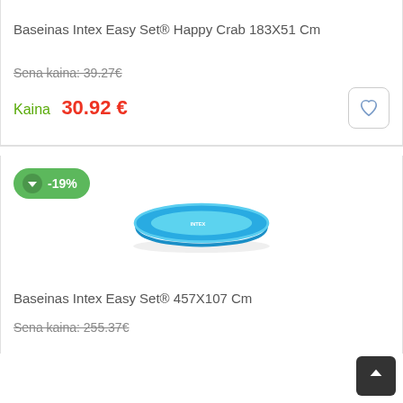Baseinas Intex Easy Set® Happy Crab 183X51 Cm
Sena kaina: 39.27€
Kaina 30.92 €
[Figure (other): Green discount badge showing -19% with down arrow]
[Figure (photo): Blue round inflatable pool (Intex Easy Set), viewed from slight above angle, on white background]
Baseinas Intex Easy Set® 457X107 Cm
Sena kaina: 255.37€